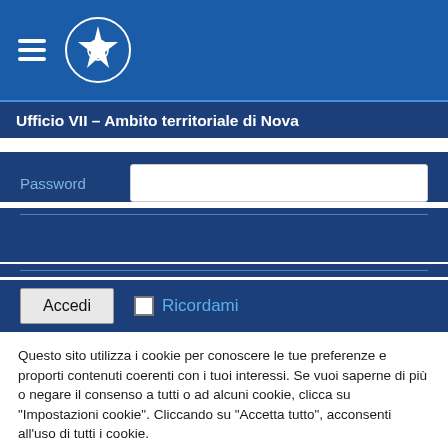[Figure (logo): Italian Republic emblem (star with olive/oak branches) on blue navigation bar with hamburger menu icon]
Ufficio VII – Ambito territoriale di Nova
Password
Accedi
Ricordami
Questo sito utilizza i cookie per conoscere le tue preferenze e proporti contenuti coerenti con i tuoi interessi. Se vuoi saperne di più o negare il consenso a tutti o ad alcuni cookie, clicca su "Impostazioni cookie". Cliccando su "Accetta tutto", acconsenti all'uso di tutti i cookie.
Impostazioni Cookie
Accetta tutti
Rifiuta